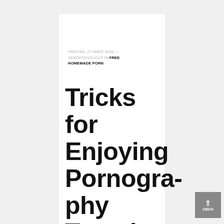FREITAG, 27 MÄRZ 2020 / VERÖFFENTLICHT IN FREE HOMEMADE PORN
Tricks for Enjoying Pornography Together